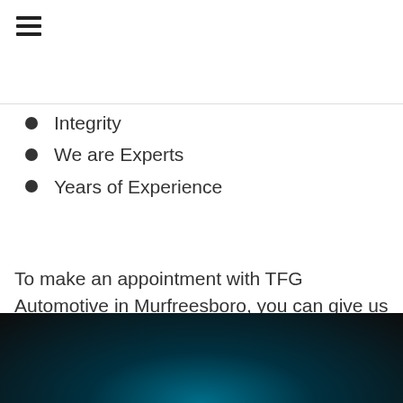[Figure (other): Hamburger menu icon with three horizontal lines]
Integrity
We are Experts
Years of Experience
To make an appointment with TFG Automotive in Murfreesboro, you can give us a call at 615-459-7030 or do so directly on our website. TFG Automotive – Real Dealership Alternative.
[Figure (illustration): Dark blue-black gradient footer band at the bottom of the page]